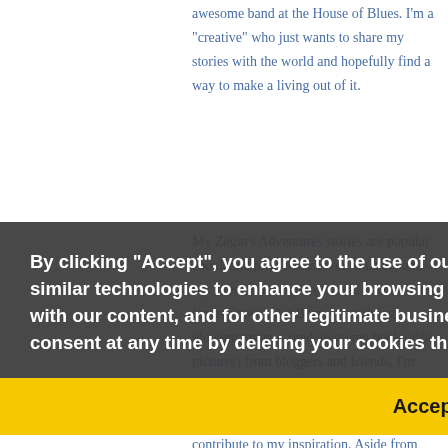awesome band at the House of Blues. I'm a "creative" who just wants to share my stories with the world and hopefully find a way to make a living out of it.
My Zegin's Adventures stories are popular ebook and print releases on Amazon, and my latest full-length romantic sci-fi/urban fantasy novel, Air Born, is receiving glowing reviews (and awesome book selfie pictures) from bloggers and friends. I'm clamoring away on Air Storm, the second book in the Air Born series.
By clicking "Accept", you agree to the use of our and third party cookies and other similar technologies to enhance your browsing experience, analyze your engagement with our content, and for other legitimate business purposes. You can withdraw your consent at any time by deleting your cookies through your browser.
Accept
I live in the Pacific Northwest, where the prevalence of coffee shops and hiking trails contribute to my inspiration. Aside from